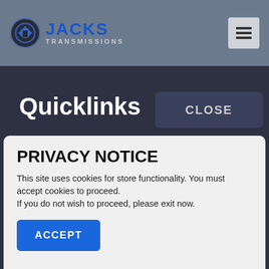Jacks Transmissions
Quicklinks
CLOSE
PRIVACY NOTICE
This site uses cookies for store functionality. You must accept cookies to proceed.
If you do not wish to proceed, please exit now.
ACCEPT